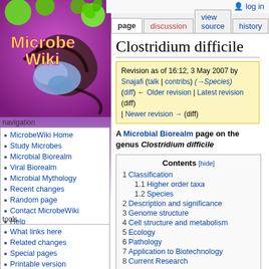[Figure (logo): MicrobeWiki logo with colorful microbes, green circles, and text 'Microbe Wiki' in purple/green on purple background]
log in
page | discussion | view source | history
Clostridium difficile
Revision as of 16:12, 3 May 2007 by Snajafi (talk | contribs) (→Species) (diff) ← Older revision | Latest revision (diff) | Newer revision → (diff)
A Microbial Biorealm page on the genus Clostridium difficile
navigation
MicrobeWiki Home
Study Microbes
Microbial Biorealm
Viral Biorealm
Microbial Mythology
Recent changes
Random page
Contact MicrobeWiki
Help
tools
What links here
Related changes
Special pages
Printable version
| Contents |
| --- |
| 1 Classification |
| 1.1 Higher order taxa |
| 1.2 Species |
| 2 Description and significance |
| 3 Genome structure |
| 4 Cell structure and metabolism |
| 5 Ecology |
| 6 Pathology |
| 7 Application to Biotechnology |
| 8 Current Research |